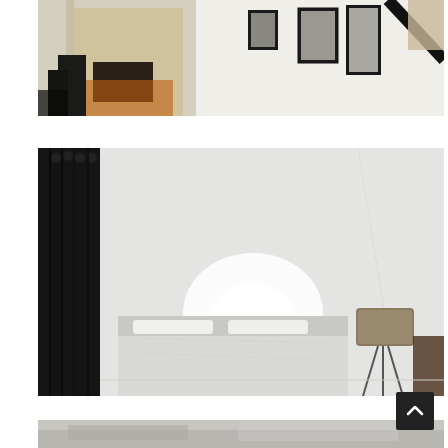[Figure (photo): Interior hallway photo showing a doorway leading to a room with wood floors, framed pictures on the wall, and a staircase railing with carpet visible at top right.]
[Figure (photo): Interior bedroom photo showing a white ceiling with a brushed nickel dome light fixture, dark curtains on the left, a bed with white bedding in the center, and a round drum lamp shade on a tripod stand on the right.]
[Figure (photo): Partial view of another interior room photo, cropped at the bottom of the page.]